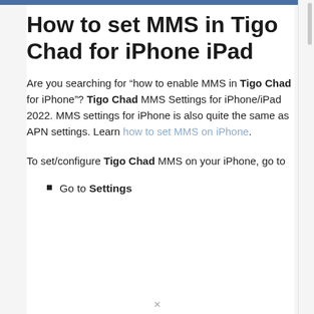How to set MMS in Tigo Chad for iPhone iPad
Are you searching for “how to enable MMS in Tigo Chad for iPhone”? Tigo Chad MMS Settings for iPhone/iPad 2022. MMS settings for iPhone is also quite the same as APN settings. Learn how to set MMS on iPhone.
To set/configure Tigo Chad MMS on your iPhone, go to
Go to Settings